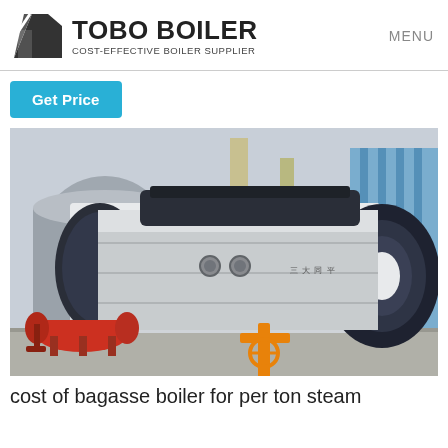TOBO BOILER - COST-EFFECTIVE BOILER SUPPLIER | MENU
Get Price
[Figure (photo): Large industrial fire-tube boiler (horizontal cylindrical shape, dark blue/black end caps, metallic silver body) on a concrete pad in an outdoor industrial facility. An orange gas valve/burner assembly is visible at the front-bottom. A red cylindrical tank is visible on the left. Industrial buildings and storage tanks in the background.]
cost of bagasse boiler for per ton steam